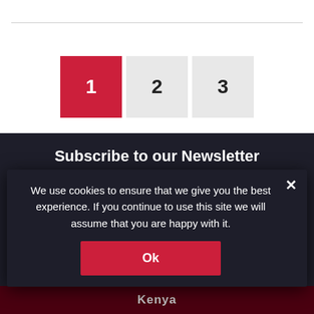[Figure (screenshot): Pagination bar with three numbered buttons: 1 (active, red), 2 (inactive, grey), 3 (inactive, grey)]
Subscribe to our Newsletter
Your email address
We use cookies to ensure that we give you the best experience. If you continue to use this site we will assume that you are happy with it.
Ok
Kenya